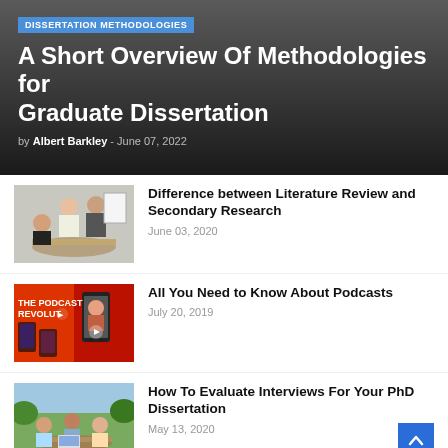DISSERTATION METHODOLOGIES
A Short Overview Of Methodologies for Graduate Dissertation
by Albert Barkley - June 07, 2022
[Figure (photo): People in a meeting or workshop setting]
Difference between Literature Review and Secondary Research
June 03, 2020
[Figure (photo): The Podcast Revolution - phone with podcast app]
All You Need to Know About Podcasts
July 20, 2019
[Figure (photo): Students studying outdoors around a table]
How To Evaluate Interviews For Your PhD Dissertation
May 13, 2020